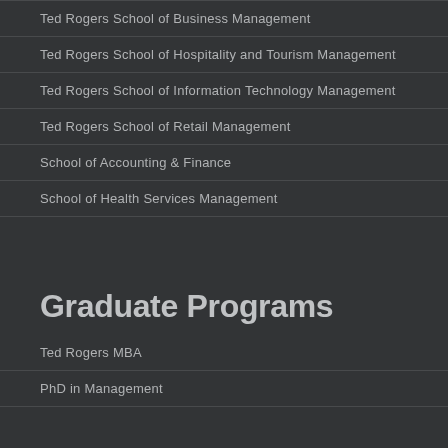Ted Rogers School of Business Management
Ted Rogers School of Hospitality and Tourism Management
Ted Rogers School of Information Technology Management
Ted Rogers School of Retail Management
School of Accounting & Finance
School of Health Services Management
Graduate Programs
Ted Rogers MBA
PhD in Management